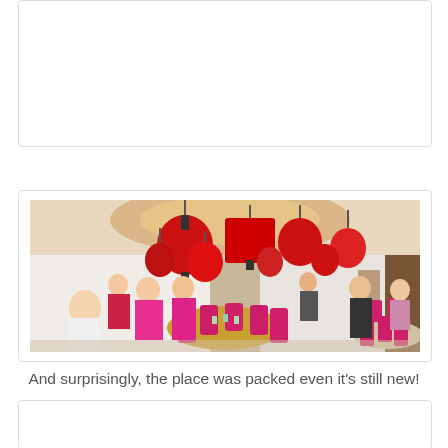[Figure (photo): Top partial card placeholder, white background with light border]
[Figure (photo): Interior of a Chinese restaurant with red lanterns (round and square-shaped) hanging from ceiling, pink/magenta chairs around round tables with gold tablecloths, diners seated and standing, bright ambient lighting]
And surprisingly, the place was packed even it's still new!
[Figure (photo): Bottom partial card placeholder, white background with light border]